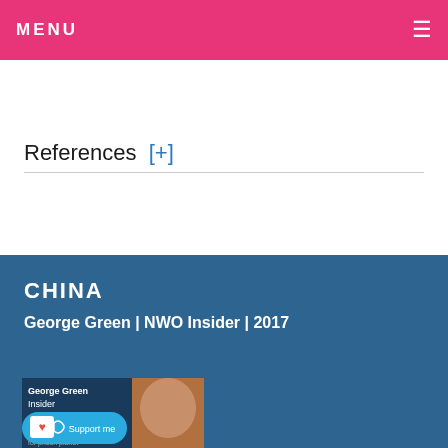MENU
References [+]
CHINA
George Green | NWO Insider | 2017
[Figure (photo): Book cover thumbnail for George Green NWO Insider with a person's face visible, alongside a Ko-fi donation button]